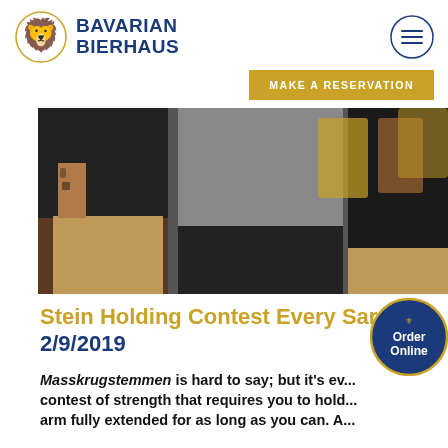BAVARIAN BIERHAUS
MAKE A RESERVATION
[Figure (photo): Three people standing in a bar/restaurant setting, one with tattooed arms wearing a black shirt and tan pants, one in a grey shirt with black pants, and one partially visible on the right; beer steins visible on shelves in the background.]
Stein Holding Contest Every [Saturday] [arch?]
2/9/2019
Masskrugstemmen is hard to say; but it's even harder — a contest of strength that requires you to hold a full stein arm fully extended for as long as you can. A[…]